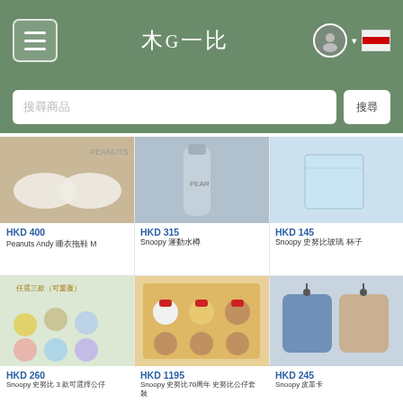木G一比 (navigation header with menu, logo, and user icons)
搜尋商品 (search bar)
[Figure (photo): Peanuts Andy plush slippers size M product photo - white fluffy slippers]
HKD 400
Peanuts Andy 睡衣拖鞋 M
[Figure (photo): Snoopy water bottle product photo - grey/clear bottle]
HKD 315
Snoopy 運動水樽
[Figure (photo): Snoopy glass cup product photo - clear glass with Snoopy characters]
HKD 145
Snoopy 史努比玻璃 杯子
[Figure (photo): Snoopy figures set of 3 (can choose) - 任選三款（可重覆）- collectible figurines]
HKD 260
Snoopy 史努比 3 款可選擇公仔
[Figure (photo): Snoopy 70th anniversary plush set - box of 6 plush toys in red caps]
HKD 1195
Snoopy 史努比70周年 史努比公仔套裝
[Figure (photo): Snoopy wallet/card holder - blue and beige leather card holders]
HKD 245
Snoopy 皮革卡